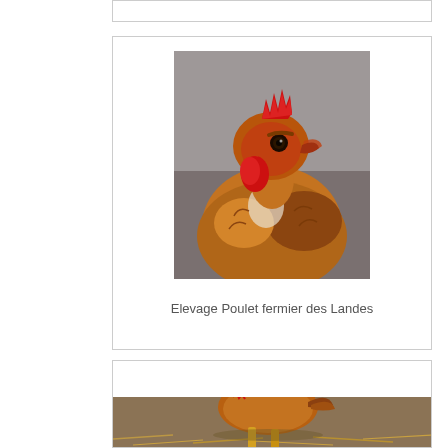[Figure (photo): Top edge of a card/frame, partially visible at top of page]
[Figure (photo): Close-up portrait photograph of a rooster (Poulet fermier des Landes) with bright red comb and wattles, golden-brown feathers, against a blurred grey background]
Elevage Poulet fermier des Landes
[Figure (photo): Partial view of a chicken (farmyard hen) standing outdoors on ground with straw, bottom of page]